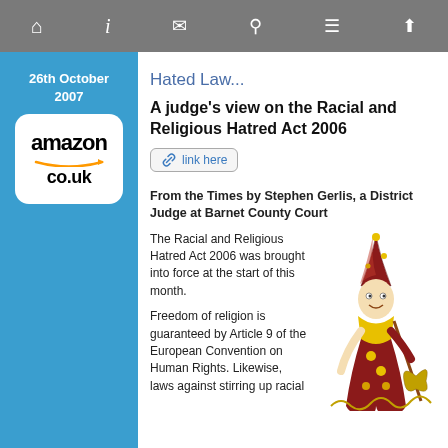Navigation bar with home, info, mail, search, menu, upload icons
26th October 2007
[Figure (logo): Amazon.co.uk logo in white rounded rectangle]
Hated Law...
A judge's view on the Racial and Religious Hatred Act 2006
link here
From the Times by Stephen Gerlis, a District Judge at Barnet County Court
The Racial and Religious Hatred Act 2006 was brought into force at the start of this month.
Freedom of religion is guaranteed by Article 9 of the European Convention on Human Rights. Likewise, laws against stirring up racial
[Figure (illustration): Colorful illustration of a jester/wizard figure in decorative robes holding a staff]